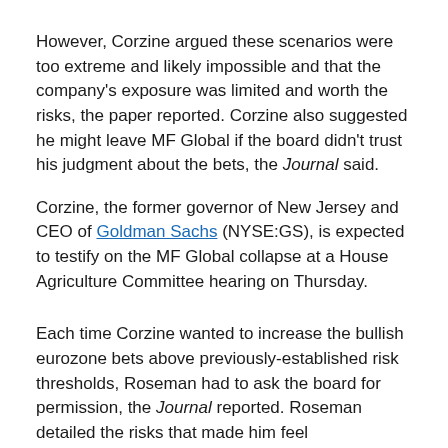However, Corzine argued these scenarios were too extreme and likely impossible and that the company's exposure was limited and worth the risks, the paper reported. Corzine also suggested he might leave MF Global if the board didn't trust his judgment about the bets, the Journal said.
Corzine, the former governor of New Jersey and CEO of Goldman Sachs (NYSE:GS), is expected to testify on the MF Global collapse at a House Agriculture Committee hearing on Thursday.
Each time Corzine wanted to increase the bullish eurozone bets above previously-established risk thresholds, Roseman had to ask the board for permission, the Journal reported. Roseman detailed the risks that made him feel uncomfortable, the paper reported.